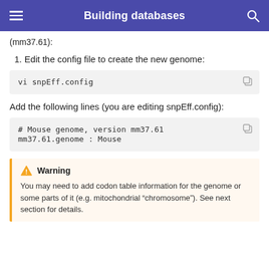Building databases
(mm37.61):
1. Edit the config file to create the new genome:
vi snpEff.config
Add the following lines (you are editing snpEff.config):
# Mouse genome, version mm37.61
mm37.61.genome : Mouse
Warning
You may need to add codon table information for the genome or some parts of it (e.g. mitochondrial "chromosome"). See next section for details.